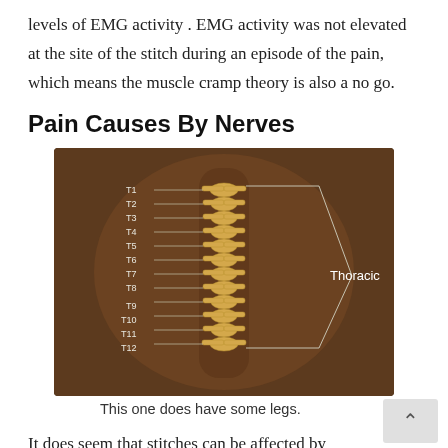levels of EMG activity . EMG activity was not elevated at the site of the stitch during an episode of the pain, which means the muscle cramp theory is also a no go.
Pain Causes By Nerves
[Figure (illustration): Anatomical illustration showing the back of a human torso with the thoracic spine (T1-T12) labeled. The vertebrae are shown in gold/yellow color with nerve labels T1 through T12 on the left side, and a bracket pointing to the label 'Thoracic' on the right side.]
This one does have some legs.
It does seem that stitches can be affected by